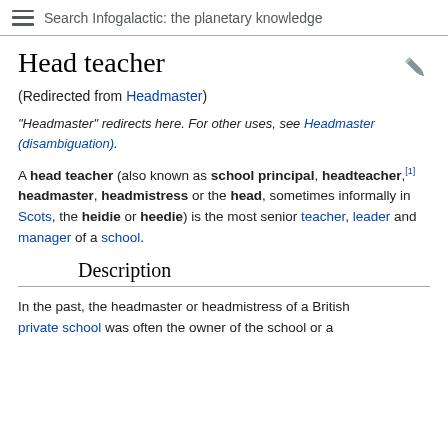Search Infogalactic: the planetary knowledge
Head teacher
(Redirected from Headmaster)
"Headmaster" redirects here. For other uses, see Headmaster (disambiguation).
A head teacher (also known as school principal, headteacher,[1] headmaster, headmistress or the head, sometimes informally in Scots, the heidie or heedie) is the most senior teacher, leader and manager of a school.
Description
In the past, the headmaster or headmistress of a British private school was often the owner of the school or a